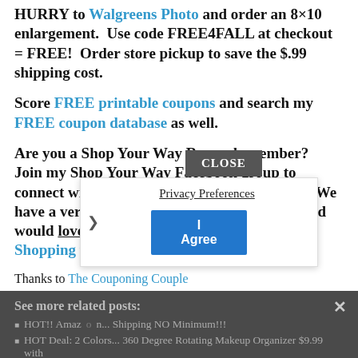HURRY to Walgreens Photo and order an 8×10 enlargement. Use code FREE4FALL at checkout = FREE! Order store pickup to save the $.99 shipping cost.
Score FREE printable coupons and search my FREE coupon database as well.
Are you a Shop Your Way Rewards member? Join my Shop Your Way Facebook group to connect with other Shop Your Way members! We have a very active and awesome community and would love to have you with us. Personal Shopping with Stacy
Thanks to The Couponing Couple
See more related posts:
HOT!! Amazon... Shipping NO Minimum!!!
HOT Deal: 2 Colors... 360 Degree Rotating Makeup Organizer $9.99 with